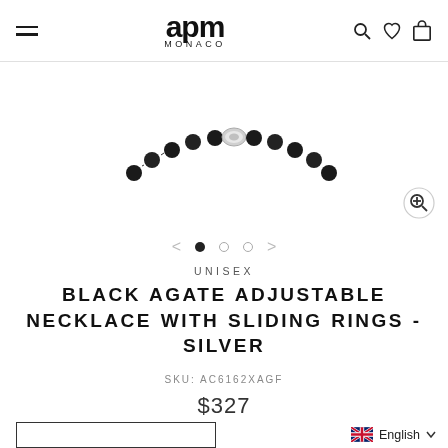APM MONACO
[Figure (photo): Black agate adjustable necklace with sliding silver rings, shown on white background — close-up of the beaded necklace clasp area]
UNISEX
BLACK AGATE ADJUSTABLE NECKLACE WITH SLIDING RINGS - SILVER
SKU: AC6162XAGF
$327
English